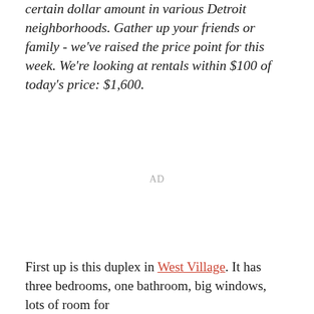certain dollar amount in various Detroit neighborhoods. Gather up your friends or family - we've raised the price point for this week. We're looking at rentals within $100 of today's price: $1,600.
AD
First up is this duplex in West Village. It has three bedrooms, one bathroom, big windows, lots of room for